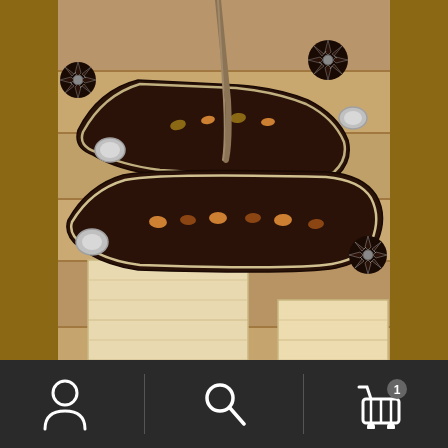[Figure (photo): A pair of decorative western spurs with dark metal bands featuring bronze, silver and gold hot pepper inlays, resting on wooden boards/planks]
Bronze, Silver and Gold Hot Pepper Adult Spur
Add to cart
Navigation bar with user account icon, search icon, and cart icon with badge showing 1 item